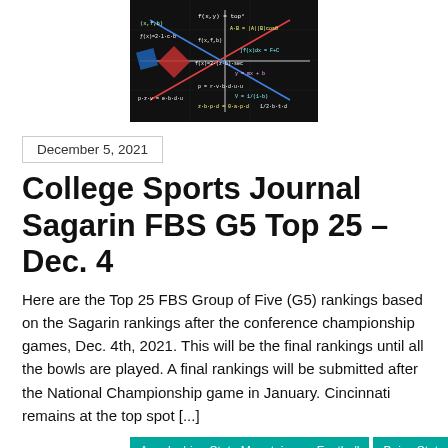[Figure (photo): Chalkboard with math equations and colorful geometric shapes]
December 5, 2021
College Sports Journal Sagarin FBS G5 Top 25 – Dec. 4
Here are the Top 25 FBS Group of Five (G5) rankings based on the Sagarin rankings after the conference championship games, Dec. 4th, 2021. This will be the final rankings until all the bowls are played. A final rankings will be submitted after the National Championship game in January. Cincinnati remains at the top spot [...]
Appalachian State Mountaineers Football | Boise State | Broncos football | BYU Cougars Football | Cincinnati